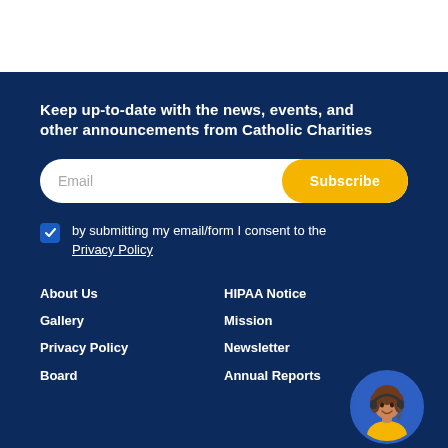Keep up-to-date with the news, events, and other announcements from Catholic Charities
Email Subscribe
by submitting my email/form I consent to the Privacy Policy
About Us
Gallery
Privacy Policy
Board
HIPAA Notice
Mission
Newsletter
Annual Reports
[Figure (illustration): Circular avatar of a female customer service representative with headset, wearing a yellow top, on blue background]